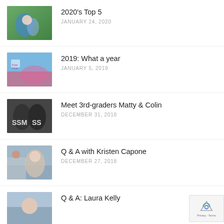2020's Top 5 — JANUARY 24, 2020
2019: What a year — JANUARY 5, 2019
Meet 3rd-graders Matty & Colin — DECEMBER 31, 2018
Q & A with Kristen Capone — DECEMBER 27, 2018
Q & A: Laura Kelly